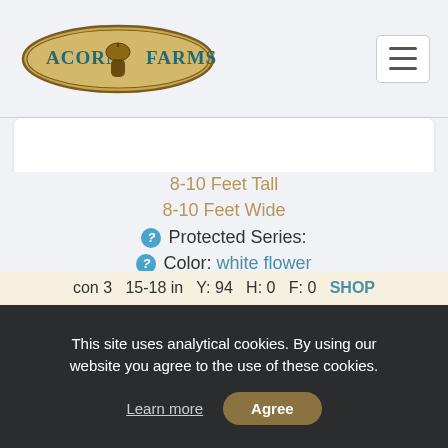[Figure (logo): Acorn Farms logo with acorn illustration in an oval badge shape, text reads ACORN FARMS]
8-10 Feet Tall
8-10 Feet Wide
? Protected Series:
? Color: white flower
? Light: Part Sun Shade
Genus: PIERIS
? Zone: 5
BROADLEAF EVERGREEN SHRUBS
#2352
con 3  15-18 in  Y: 94  H: 0  F: 0  SHOP
This site uses analytical cookies. By using our website you agree to the use of these cookies.
Learn more
Agree